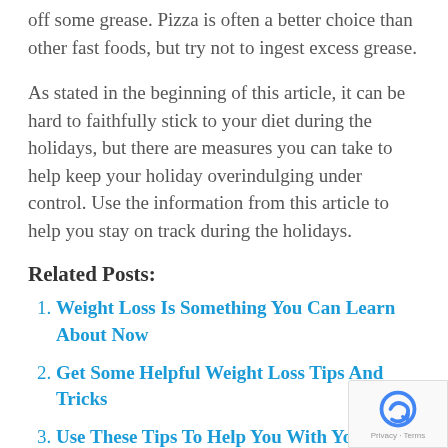off some grease. Pizza is often a better choice than other fast foods, but try not to ingest excess grease.
As stated in the beginning of this article, it can be hard to faithfully stick to your diet during the holidays, but there are measures you can take to help keep your holiday overindulging under control. Use the information from this article to help you stay on track during the holidays.
Related Posts:
Weight Loss Is Something You Can Learn About Now
Get Some Helpful Weight Loss Tips And Tricks
Use These Tips To Help You With Your Weight Loss Journey